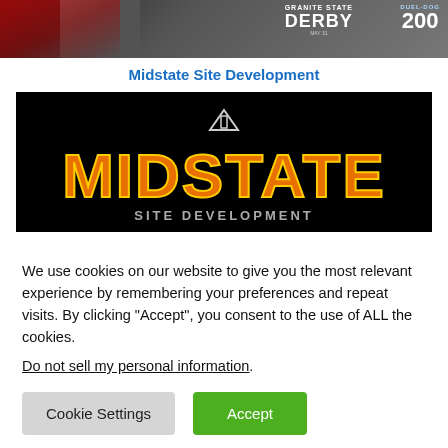[Figure (illustration): Granite State Derby and Duel Dog 200 racing event banner with dark background, racing imagery, red diagonal stripe on left, event logos on right]
Midstate Site Development
[Figure (logo): Midstate logo on black background with orange and yellow stylized text reading MIDSTATE]
We use cookies on our website to give you the most relevant experience by remembering your preferences and repeat visits. By clicking “Accept”, you consent to the use of ALL the cookies.
Do not sell my personal information.
Cookie Settings
Accept